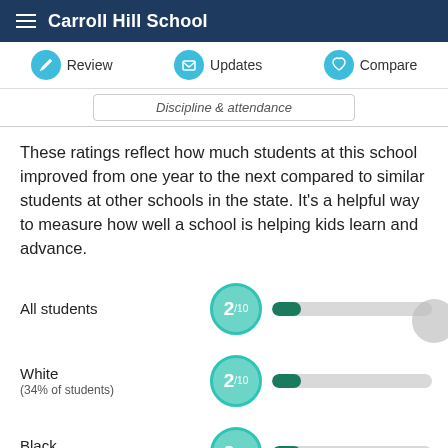Carroll Hill School
Review   Updates   Compare
Discipline & attendance
These ratings reflect how much students at this school improved from one year to the next compared to similar students at other schools in the state. It's a helpful way to measure how well a school is helping kids learn and advance.
[Figure (bar-chart): Student ratings]